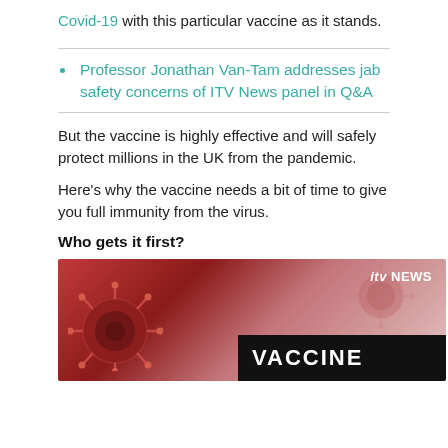Covid-19 with this particular vaccine as it stands.
Professor Jonathan Van-Tam addresses jab safety concerns of ITV News panel in Q&A
But the vaccine is highly effective and will safely protect millions in the UK from the pandemic.
Here's why the vaccine needs a bit of time to give you full immunity from the virus.
Who gets it first?
[Figure (photo): ITV News thumbnail showing a coronavirus particle image with 'VACCINE' text bar and ITV NEWS logo]